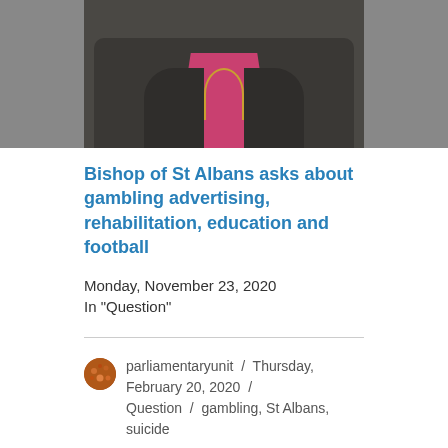[Figure (photo): Partial photo of a person wearing a dark jacket over a pink/magenta shirt with a gold chain, likely a bishop.]
Bishop of St Albans asks about gambling advertising, rehabilitation, education and football
Monday, November 23, 2020
In "Question"
parliamentaryunit / Thursday, February 20, 2020 / Question / gambling, St Albans, suicide
PREVIOUS
Week in Westminster, 10th-14th February 2020